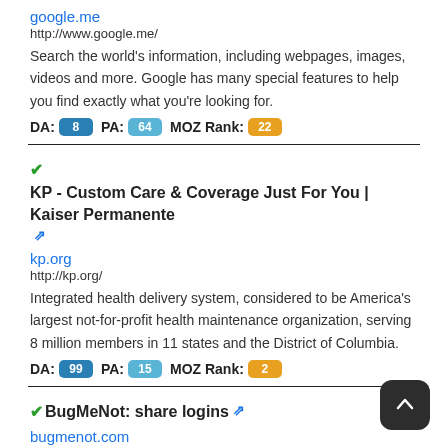google.me
http://www.google.me/
Search the world's information, including webpages, images, videos and more. Google has many special features to help you find exactly what you're looking for.
DA: 8  PA: 64  MOZ Rank: 22
KP - Custom Care & Coverage Just For You | Kaiser Permanente
kp.org
http://kp.org/
Integrated health delivery system, considered to be America's largest not-for-profit health maintenance organization, serving 8 million members in 11 states and the District of Columbia.
DA: 99  PA: 15  MOZ Rank: 2
BugMeNot: share logins
bugmenot.com